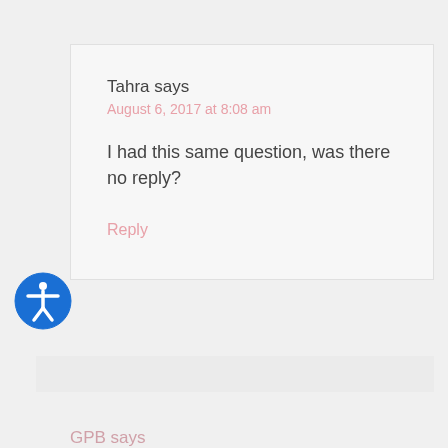Tahra says
August 6, 2017 at 8:08 am
I had this same question, was there no reply?
Reply
GPB says